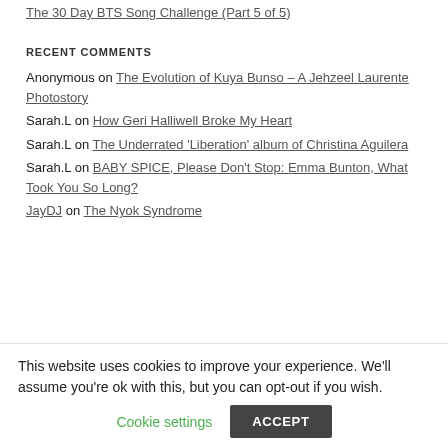The 30 Day BTS Song Challenge (Part 5 of 5)
RECENT COMMENTS
Anonymous on The Evolution of Kuya Bunso – A Jehzeel Laurente Photostory
Sarah.L on How Geri Halliwell Broke My Heart
Sarah.L on The Underrated 'Liberation' album of Christina Aguilera
Sarah.L on BABY SPICE, Please Don't Stop: Emma Bunton, What Took You So Long?
JayDJ on The Nyok Syndrome
This website uses cookies to improve your experience. We'll assume you're ok with this, but you can opt-out if you wish. Cookie settings ACCEPT